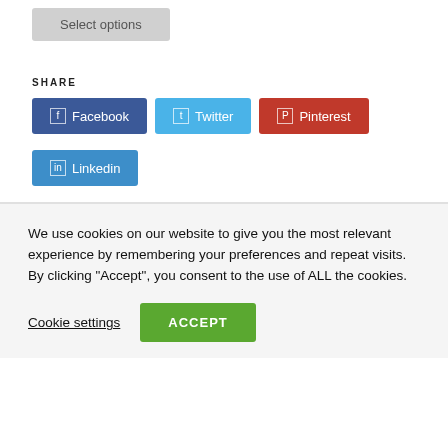Select options
SHARE
☐ Facebook
☐ Twitter
☐ Pinterest
☐ Linkedin
We use cookies on our website to give you the most relevant experience by remembering your preferences and repeat visits. By clicking "Accept", you consent to the use of ALL the cookies.
Cookie settings
ACCEPT